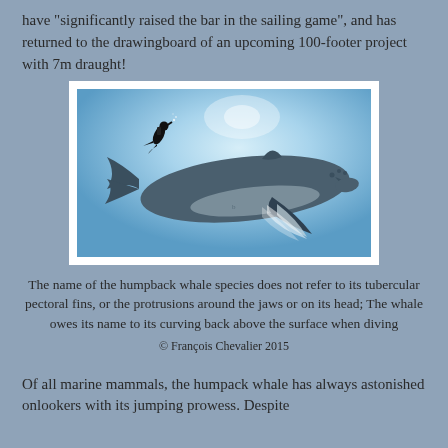have "significantly raised the bar in the sailing game", and has returned to the drawingboard of an upcoming 100-footer project with 7m draught!
[Figure (illustration): Illustration of a large humpback whale underwater with a small scuba diver silhouette above and to the left, set against a blue gradient background.]
The name of the humpback whale species does not refer to its tubercular pectoral fins, or the protrusions around the jaws or on its head; The whale owes its name to its curving back above the surface when diving
© François Chevalier 2015
Of all marine mammals, the humpack whale has always astonished onlookers with its jumping prowess. Despite